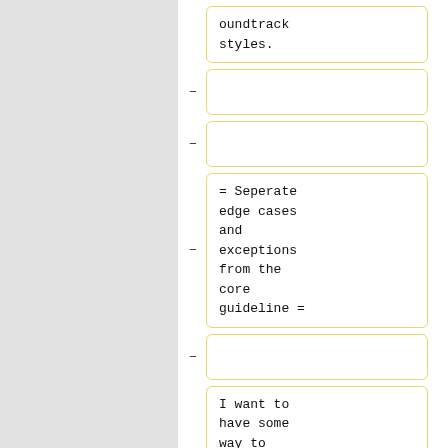oundtrack styles.
-
-
= Seperate edge cases and exceptions from the core guideline =
-
I want to have some way to clearly seperate a core guideline